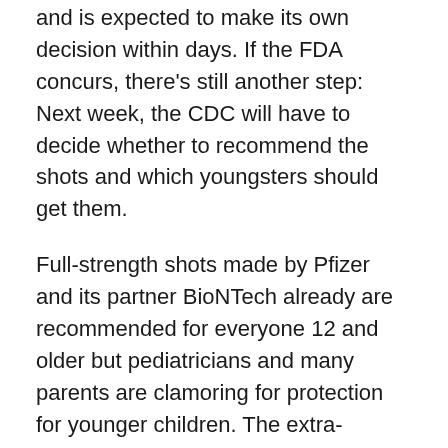and is expected to make its own decision within days. If the FDA concurs, there's still another step: Next week, the CDC will have to decide whether to recommend the shots and which youngsters should get them.
Full-strength shots made by Pfizer and its partner BioNTech already are recommended for everyone 12 and older but pediatricians and many parents are clamoring for protection for younger children. The extra-contagious delta variant has caused an alarming rise in pediatric infections — and families are frustrated with school quarantines and having to say no to sleepovers and other rites of childhood to keep the virus at bay.
In the 5- to 11-year-old age group, there have been over 8,300 hospitalizations reported, about a third